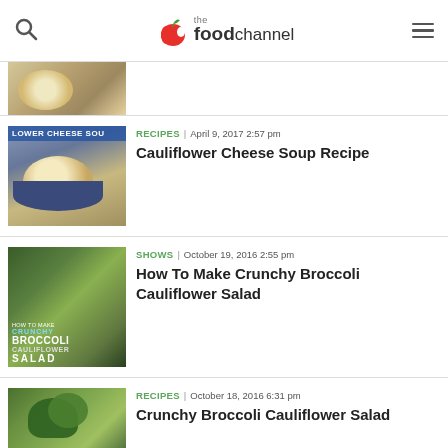the foodchannel
[Figure (photo): Partial view of a bowl of soup (top portion cut off)]
[Figure (photo): Bowl of cauliflower cheese soup with text overlay 'LOWER CHEESE SOU']
RECIPES | April 9, 2017 2:57 pm
Cauliflower Cheese Soup Recipe
[Figure (photo): Text overlay image: HOW TO MAKE CRUNCHY BROCCOLI CAULIFLOWER SALAD on dark background with broccoli]
SHOWS | October 19, 2016 2:55 pm
How To Make Crunchy Broccoli Cauliflower Salad
[Figure (photo): Plate of broccoli cauliflower salad with vegetables]
RECIPES | October 18, 2016 6:31 pm
Crunchy Broccoli Cauliflower Salad